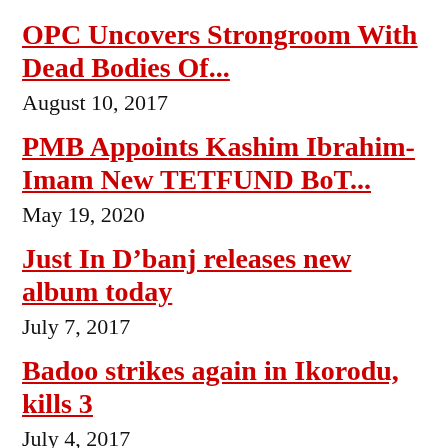OPC Uncovers Strongroom With Dead Bodies Of...
August 10, 2017
PMB Appoints Kashim Ibrahim-Imam New TETFUND BoT...
May 19, 2020
Just In D’banj releases new album today
July 7, 2017
Badoo strikes again in Ikorodu, kills 3
July 4, 2017